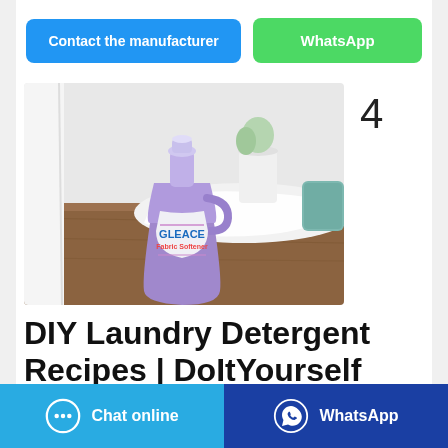[Figure (other): Two buttons: 'Contact the manufacturer' (blue) and 'WhatsApp' (green)]
[Figure (photo): Photo of a purple laundry detergent bottle (Bleach brand) on a wooden surface with white fabric and a plant in the background]
4
DIY Laundry Detergent Recipes | DoItYourself
[Figure (other): Bottom bar with 'Chat online' (light blue) and 'WhatsApp' (dark blue) buttons]